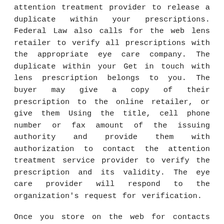attention treatment provider to release a duplicate within your prescriptions. Federal Law also calls for the web lens retailer to verify all prescriptions with the appropriate eye care company. The duplicate within your Get in touch with lens prescription belongs to you. The buyer may give a copy of their prescription to the online retailer, or give them Using the title, cell phone number or fax amount of the issuing authority and provide them with authorization to contact the attention treatment service provider to verify the prescription and its validity. The eye care provider will respond to the organization's request for verification.
Once you store on the web for contacts Be certain that you do have a present-day prescription, buy a top quality manufacturer identify contacts, Guantee that the web corporation is a legitimate and legit on the net Get hold of lens retailer that helps you